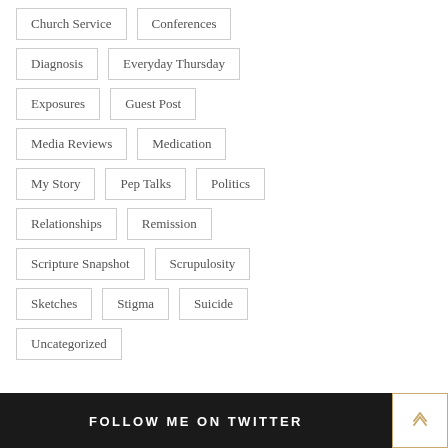Church Service
Conferences
Diagnosis
Everyday Thursday
Exposures
Guest Post
Media Reviews
Medication
My Story
Pep Talks
Politics
Relationships
Remission
Scripture Snapshot
Scrupulosity
Sketches
Stigma
Suicide
Uncategorized
FOLLOW ME ON TWITTER